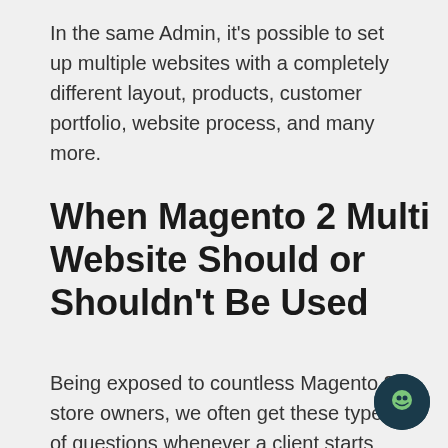In the same Admin, it's possible to set up multiple websites with a completely different layout, products, customer portfolio, website process, and many more.
When Magento 2 Multi Website Should or Shouldn't Be Used
Being exposed to countless Magento 2 store owners, we often get these types of questions whenever a client starts learning about multiple websites